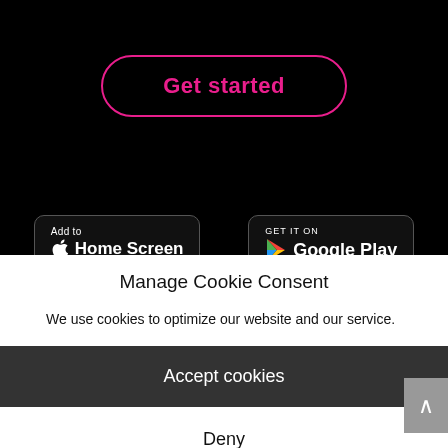[Figure (screenshot): Black background section with a pink outlined rounded rectangle button labeled 'Get started' in pink bold text]
[Figure (screenshot): Two app store badges: 'Add to Home Screen' (Apple) and 'GET IT ON Google Play' on black background]
Manage Cookie Consent
We use cookies to optimize our website and our service.
Accept cookies
Deny